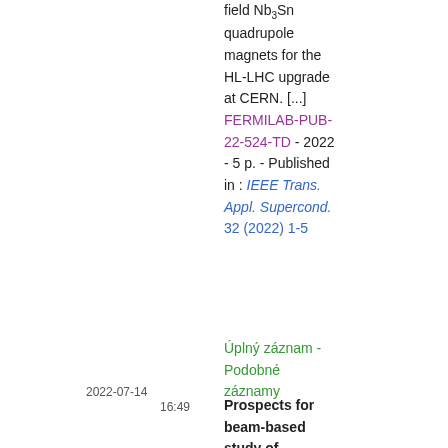field Nb3Sn quadrupole magnets for the HL-LHC upgrade at CERN. [...] FERMILAB-PUB-22-524-TD - 2022 - 5 p. - Published in : IEEE Trans. Appl. Supercond. 32 (2022) 1-5
Úplný záznam - Podobné záznamy
2022-07-14
16:49
Prospects for beam-based study of dodecapole